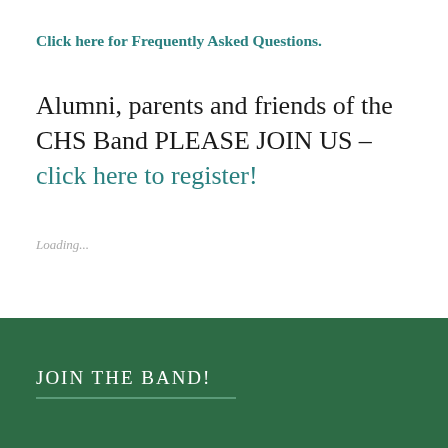Click here for Frequently Asked Questions.
Alumni, parents and friends of the CHS Band PLEASE JOIN US – click here to register!
Loading...
JOIN THE BAND!